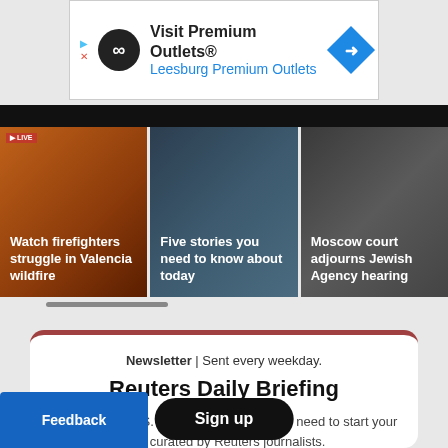[Figure (advertisement): Visit Premium Outlets® Leesburg Premium Outlets banner ad with infinity logo and blue diamond arrow icon]
[Figure (photo): Dark header bar above news thumbnails]
[Figure (photo): Three news thumbnails: Watch firefighters struggle in Valencia wildfire; Five stories you need to know about today; Moscow court adjourns Jewish Agency hearing]
Newsletter | Sent every weekday.
Reuters Daily Briefing
All the world, U.S. and business news you need to start your day, curated by Reuters journalists.
Sign up
Feedback